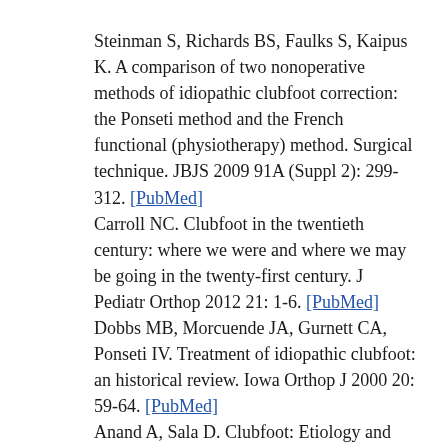1. Steinman S, Richards BS, Faulks S, Kaipus K. A comparison of two nonoperative methods of idiopathic clubfoot correction: the Ponseti method and the French functional (physiotherapy) method. Surgical technique. JBJS 2009 91A (Suppl 2): 299-312. [PubMed]
2. Carroll NC. Clubfoot in the twentieth century: where we were and where we may be going in the twenty-first century. J Pediatr Orthop 2012 21: 1-6. [PubMed]
3. Dobbs MB, Morcuende JA, Gurnett CA, Ponseti IV. Treatment of idiopathic clubfoot: an historical review. Iowa Orthop J 2000 20: 59-64. [PubMed]
4. Anand A, Sala D. Clubfoot: Etiology and treatment. Indian J Orthop 2008 42: 22-28. [PubMed]
5. Manzone P. Clubfoot surgical